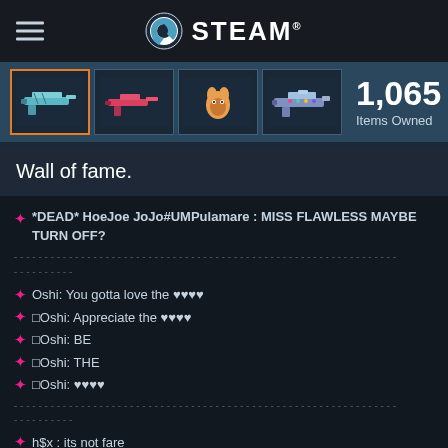STEAM
[Figure (screenshot): Steam inventory showing 4 weapon skin thumbnails]
1,065 Items Owned
Wall of fame.
★ *DEAD* HoeJoe JoJo#UMPulamare : MISS FLAWLESS MAYBE TURN OFF?
★ Oshi: You gotta love the ♥♥♥♥
★ □Oshi: Appreciate the ♥♥♥♥
★ □Oshi: BE
★ □Oshi: THE
★ □Oshi: ♥♥♥♥
★ h$x : its not fare